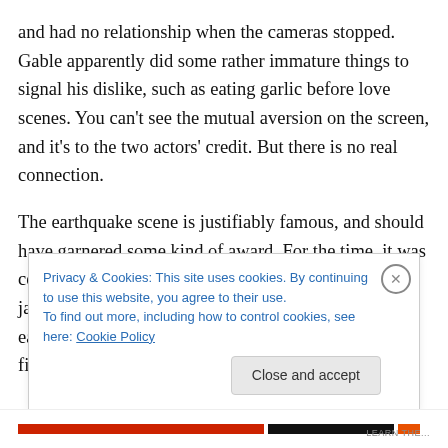and had no relationship when the cameras stopped. Gable apparently did some rather immature things to signal his dislike, such as eating garlic before love scenes. You can't see the mutual aversion on the screen, and it's to the two actors' credit. But there is no real connection.
The earthquake scene is justifiably famous, and should have garnered some kind of award. For the time, it was certainly state-of-the-art, and even today it can be jarring. Having recently seen a documentary on the earthquake and its attendant fires, I realized that the film nails the key
Privacy & Cookies: This site uses cookies. By continuing to use this website, you agree to their use.
To find out more, including how to control cookies, see here: Cookie Policy
Close and accept